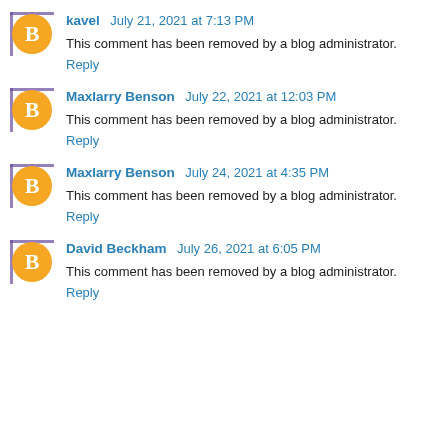kavel July 21, 2021 at 7:13 PM
This comment has been removed by a blog administrator.
Reply
Maxlarry Benson July 22, 2021 at 12:03 PM
This comment has been removed by a blog administrator.
Reply
Maxlarry Benson July 24, 2021 at 4:35 PM
This comment has been removed by a blog administrator.
Reply
David Beckham July 26, 2021 at 6:05 PM
This comment has been removed by a blog administrator.
Reply